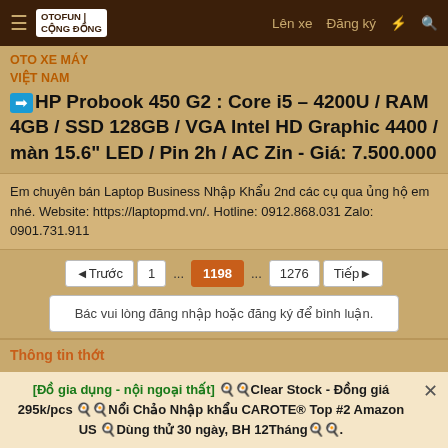OTOFUN | CỘNG ĐỒNG OTO XE MÁY VIỆT NAM — Lên xe   Đăng ký
OTO XE MÁY VIỆT NAM
➡ HP Probook 450 G2 : Core i5 – 4200U / RAM 4GB / SSD 128GB / VGA Intel HD Graphic 4400 / màn 15.6" LED / Pin 2h / AC Zin - Giá: 7.500.000
Em chuyên bán Laptop Business Nhập Khẩu 2nd các cụ qua ủng hộ em nhé. Website: https://laptopmd.vn/. Hotline: 0912.868.031 Zalo: 0901.731.911
◄Trước   1   ...   1198   ...   1276   Tiếp►
Bác vui lòng đăng nhập hoặc đăng ký để bình luận.
Thông tin thớt
Đang có 2 cụ đang nghía thớt này (0 lái chính và 2 lái phụ)
[Đồ gia dụng - nội ngoại thất] 🍳🍳Clear Stock - Đồng giá 295k/pcs 🍳🍳Nổi Chảo Nhập khẩu CAROTE® Top #2 Amazon US 🍳Dùng thử 30 ngày, BH 12Tháng🍳🍳.